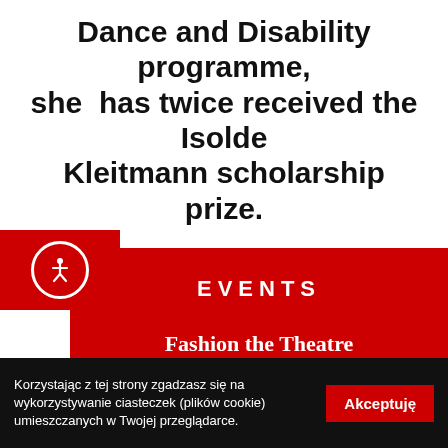Dance and Disability programme, she has twice received the Isolde Kleitmann scholarship prize.
[Figure (infographic): Red square with accessibility icon (person in circle) on the left side]
EVENTS
Fashion the Theatre 2019, Leeds
FLOCK FEST 2019, Leeds
Korzystając z tej strony zgadzasz się na wykorzystywanie ciasteczek (plików cookie) umieszczanych w Twojej przeglądarce. Akceptuję